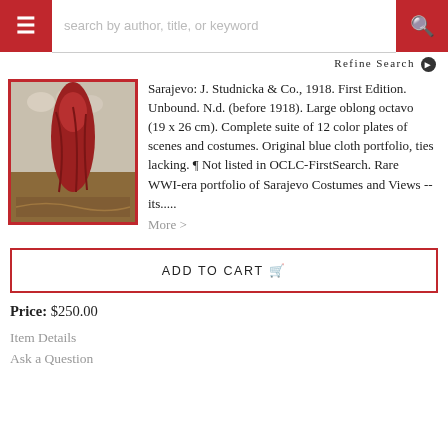search by author, title, or keyword
Refine Search
[Figure (photo): Book cover or portfolio image showing a red draped figure against a floral background, framed in red border]
Sarajevo: J. Studnicka & Co., 1918. First Edition. Unbound. N.d. (before 1918). Large oblong octavo (19 x 26 cm). Complete suite of 12 color plates of scenes and costumes. Original blue cloth portfolio, ties lacking. ¶ Not listed in OCLC-FirstSearch. Rare WWI-era portfolio of Sarajevo Costumes and Views -- its.....
More >
ADD TO CART
Price: $250.00
Item Details
Ask a Question